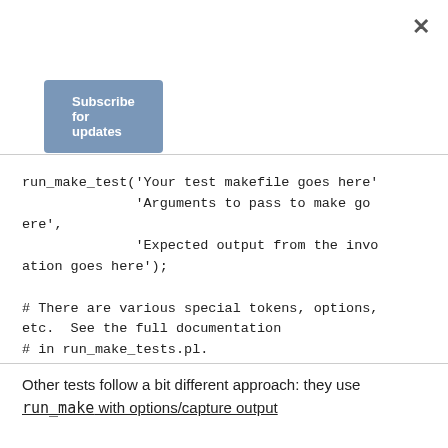×
Subscribe for updates
run_make_test('Your test makefile goes here'
                'Arguments to pass to make go here',
                'Expected output from the invocation goes here');

# There are various special tokens, options, etc.  See the full documentation
# in run_make_tests.pl.


# This tells the test driver that the perl test script executed properly.
1;
Other tests follow a bit different approach: they use run_make with options/capture output